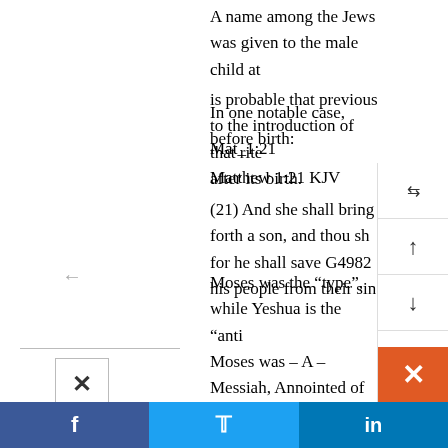A name among the Jews was given to the male child at... is probable that previous to the introduction of that rite... after its birth.
In one notable case, before birth:
Mat_1:21
Matthew 1:21 KJV
(21) And she shall bring forth a son, and thou sh... for he shall save G4982 his people from their sin...
Moses was the “type”, while Yeshua is the “anti...
Moses was – A – Messiah, Annointed of YHVH...
Moses delivered Israel from physical bondage, w... who accept it, from bondage of sin and death.
Moses had to die because he was not completely faithful to YHVH.
As you see in the above Scripture, most Biblical...